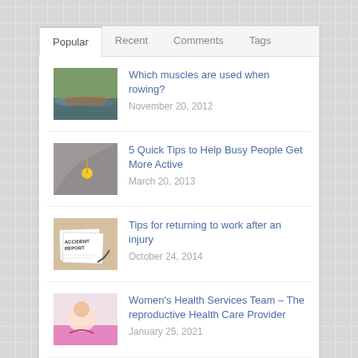Popular | Recent | Comments | Tags
Which muscles are used when rowing? — November 20, 2012
5 Quick Tips to Help Busy People Get More Active — March 20, 2013
Tips for returning to work after an injury — October 24, 2014
Women's Health Services Team – The reproductive Health Care Provider — January 25, 2021
5 Essential Tips For Electronic Cigarette Smokers